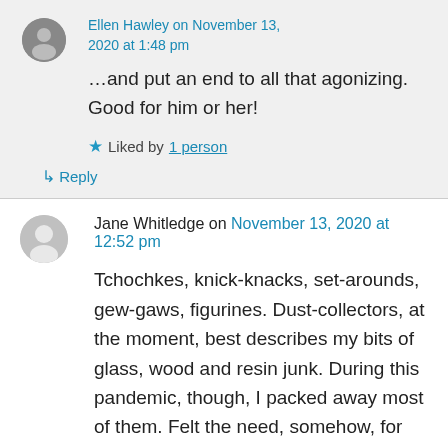Ellen Hawley on November 13, 2020 at 1:48 pm
…and put an end to all that agonizing. Good for him or her!
★ Liked by 1 person
↳ Reply
Jane Whitledge on November 13, 2020 at 12:52 pm
Tchochkes, knick-knacks, set-arounds, gew-gaws, figurines. Dust-collectors, at the moment, best describes my bits of glass, wood and resin junk. During this pandemic, though, I packed away most of them. Felt the need, somehow, for